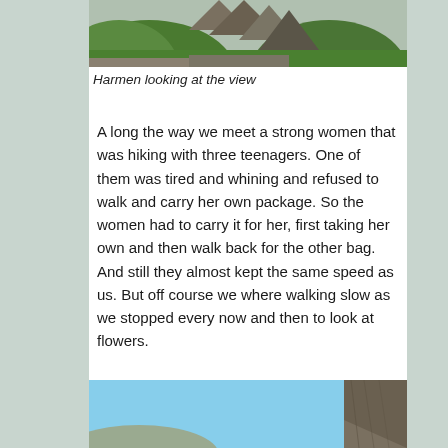[Figure (photo): Top portion of a mountain/alpine landscape with green hills and rocky peaks visible]
Harmen looking at the view
A long the way we meet a strong women that was hiking with three teenagers. One of them was tired and whining and refused to walk and carry her own package. So the women had to carry it for her, first taking her own and then walk back for the other bag. And still they almost kept the same speed as us. But off course we where walking slow as we stopped every now and then to look at flowers.
[Figure (photo): Bottom portion showing blue sky and rocky cliff face]